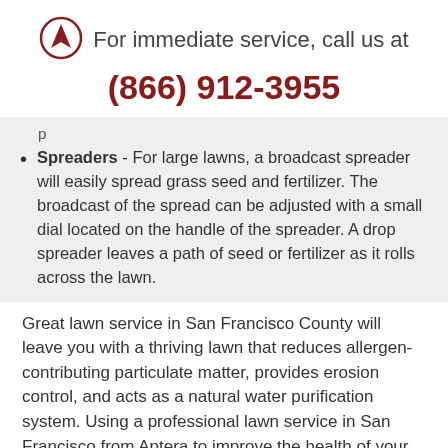[Figure (logo): Aptera logo: circle with an arrow/navigation pointer icon in dark red]
For immediate service, call us at
(866) 912-3955
Spreaders - For large lawns, a broadcast spreader will easily spread grass seed and fertilizer. The broadcast of the spread can be adjusted with a small dial located on the handle of the spreader. A drop spreader leaves a path of seed or fertilizer as it rolls across the lawn.
Great lawn service in San Francisco County will leave you with a thriving lawn that reduces allergen-contributing particulate matter, provides erosion control, and acts as a natural water purification system. Using a professional lawn service in San Francisco from Aptera to improve the health of your yard can save you time and even money so get started today.
For more about the...